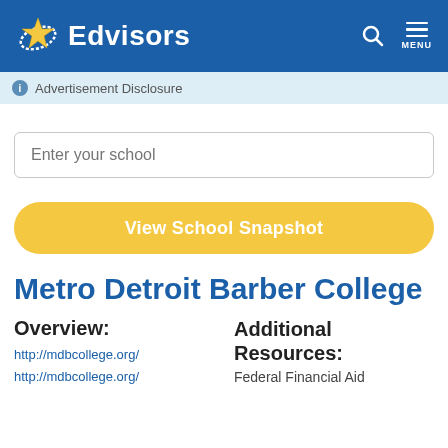Edvisors
Advertisement Disclosure
Enter your school
View School Snapshot
Metro Detroit Barber College
Overview:
http://mdbcollege.org/
http://mdbcollege.org/
Additional Resources:
Federal Financial Aid